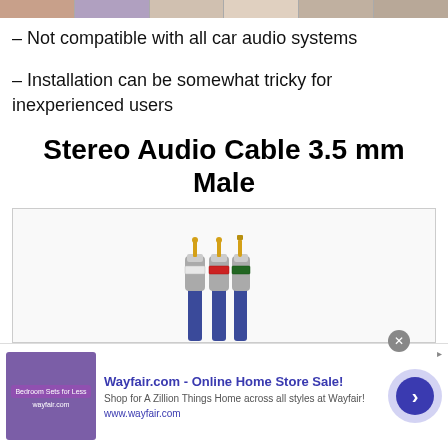[Figure (photo): Row of cropped portrait photos at top of page]
– Not compatible with all car audio systems
– Installation can be somewhat tricky for inexperienced users
Stereo Audio Cable 3.5 mm Male
[Figure (photo): Photo of a stereo audio cable with two RCA connectors (white and red bands) and one 3.5mm stereo jack (green band), with blue braided cable, gold tips]
[Figure (other): Wayfair.com advertisement banner: Online Home Store Sale! Shop for A Zillion Things Home across all styles at Wayfair! www.wayfair.com]